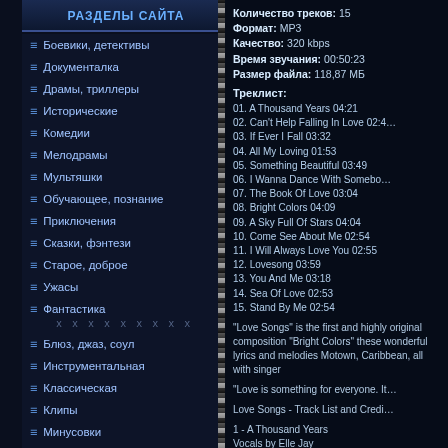РАЗДЕЛЫ САЙТА
Боевики, детективы
Документалка
Драмы, триллеры
Исторические
Комедии
Мелодрамы
Мультяшки
Обучающее, познание
Приключения
Сказки, фэнтези
Старое, доброе
Ужасы
Фантастика x x x x x x x x x
Блюз, джаз, соул
Инструментальная
Классическая
Клипы
Минусовки
Музыка игр и кино
Поп
Разная
Ретро
Количество треков: 15
Формат: MP3
Качество: 320 kbps
Время звучания: 00:50:23
Размер файла: 118,87 МБ
Треклист:
01. A Thousand Years 04:21
02. Can't Help Falling In Love 02:4…
03. If Ever I Fall 03:32
04. All My Loving 01:53
05. Something Beautiful 03:49
06. I Wanna Dance With Somebo…
07. The Book Of Love 03:04
08. Bright Colors 04:09
09. A Sky Full Of Stars 04:04
10. Come See About Me 02:54
11. I Will Always Love You 02:55
12. Lovesong 03:59
13. You And Me 03:18
14. Sea Of Love 02:53
15. Stand By Me 02:54
"Love Songs" is the first and highly original composition "Bright Colors" these wonderful lyrics and melodies Motown, Caribbean, all with singer
"Love is something for everyone. It…
Love Songs - Track List and Credi…
1 - A Thousand Years
Vocals by Elle Jay
Instrumentation by Mark Magnuso…
Songwriter(s) David Hodges and C…
Original Song Copyright Wa…